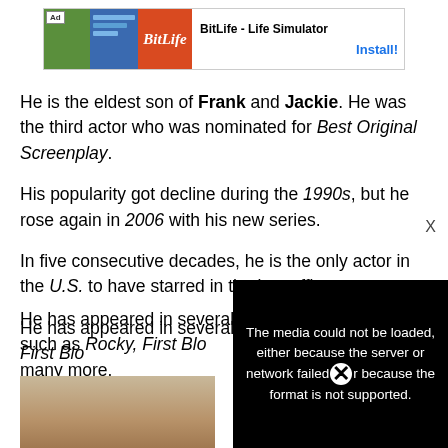[Figure (screenshot): Ad banner for BitLife - Life Simulator app with green, blue, and red image sections and an Install button]
He is the eldest son of Frank and Jackie. He was the third actor who was nominated for Best Original Screenplay.
His popularity got decline during the 1990s, but he rose again in 2006 with his new series.
In five consecutive decades, he is the only actor in the U.S. to have starred in the box office.
He has appeared in several films such as Rocky, First Blo[od], and many more.
[Figure (photo): Partial photo of a person visible at the bottom left of the page]
[Figure (screenshot): Media error overlay: The media could not be loaded, either because the server or network failed or because the format is not supported.]